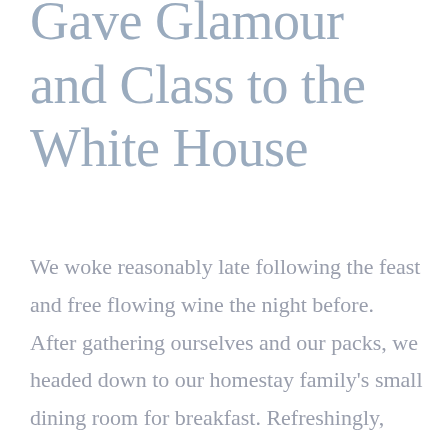Gave Glamour and Class to the White House
We woke reasonably late following the feast and free flowing wine the night before. After gathering ourselves and our packs, we headed down to our homestay family's small dining room for breakfast. Refreshingly, what was expected of her was the same thing that was expected of Lara